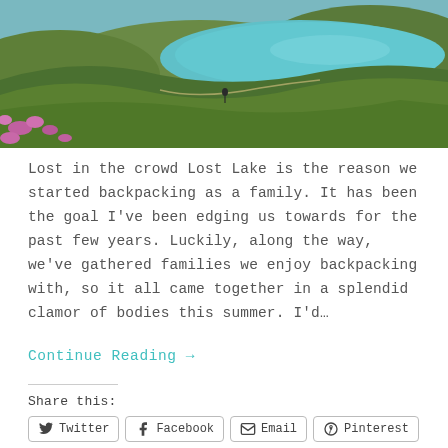[Figure (photo): Aerial landscape photo of a mountain lake with turquoise water, surrounded by green hillsides with pink wildflowers in the foreground and a winding path visible.]
Lost in the crowd Lost Lake is the reason we started backpacking as a family. It has been the goal I've been edging us towards for the past few years. Luckily, along the way, we've gathered families we enjoy backpacking with, so it all came together in a splendid clamor of bodies this summer. I'd…
Continue Reading →
Share this:
Twitter   Facebook   Email   Pinterest